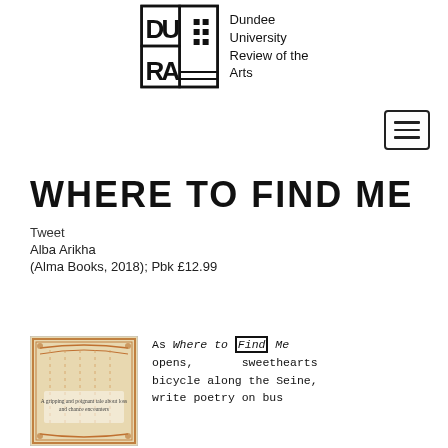[Figure (logo): Dundee University Review of the Arts logo with geometric building/letters graphic and text]
WHERE TO FIND ME
Tweet
Alba Arikha
(Alma Books, 2018); Pbk £12.99
[Figure (photo): Book cover of Where to Find Me by Alba Arikha, showing an ornate vintage-style design with text 'A gripping and poignant tale about loss and chance encounters']
As Where to Find Me opens, sweethearts bicycle along the Seine, write poetry on bus